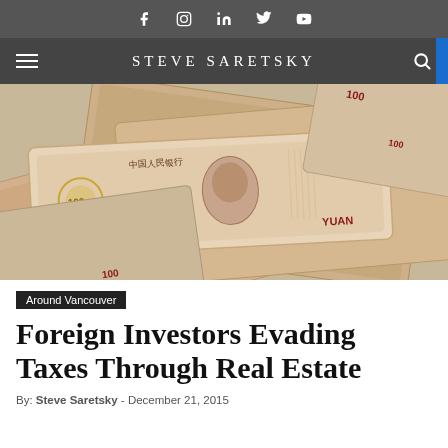Social icons: Facebook, Instagram, LinkedIn, Twitter, YouTube
STEVE SARETSKY
[Figure (photo): Close-up photo of multiple Chinese 100 Yuan (RMB) banknotes fanned out, showing Mao Zedong portrait and 中国人民银行 text]
Around Vancouver
Foreign Investors Evading Taxes Through Real Estate
By: Steve Saretsky - December 21, 2015